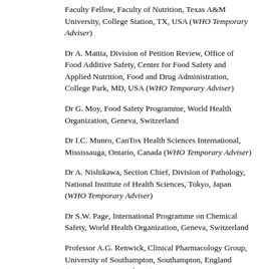Faculty Fellow, Faculty of Nutrition, Texas A&M University, College Station, TX, USA (WHO Temporary Adviser)
Dr A. Mattia, Division of Petition Review, Office of Food Additive Safety, Center for Food Safety and Applied Nutrition, Food and Drug Administration, College Park, MD, USA (WHO Temporary Adviser)
Dr G. Moy, Food Safety Programme, World Health Organization, Geneva, Switzerland
Dr I.C. Munro, CanTox Health Sciences International, Mississauga, Ontario, Canada (WHO Temporary Adviser)
Dr A. Nishikawa, Section Chief, Division of Pathology, National Institute of Health Sciences, Tokyo, Japan (WHO Temporary Adviser)
Dr S.W. Page, International Programme on Chemical Safety, World Health Organization, Geneva, Switzerland
Professor A.G. Renwick, Clinical Pharmacology Group, University of Southampton, Southampton, England (WHO Temporary Adviser)